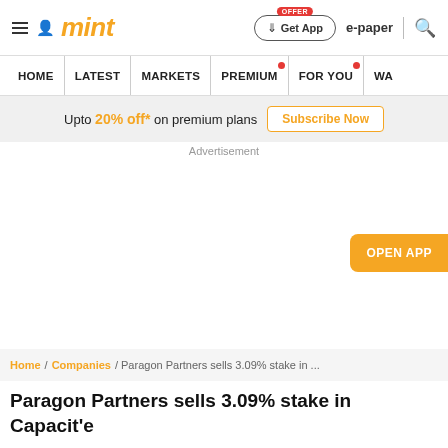mint — Get App | e-paper | search
HOME | LATEST | MARKETS | PREMIUM | FOR YOU | WA
Upto 20% off* on premium plans Subscribe Now
Advertisement
OPEN APP
Home / Companies / Paragon Partners sells 3.09% stake in ...
Paragon Partners sells 3.09% stake in Capacit'e